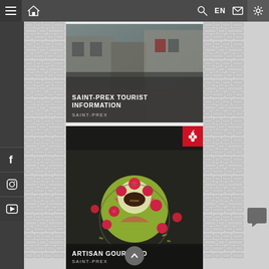[Figure (screenshot): Mobile app navigation bar with hamburger menu, home icon, search icon, EN language selector, mail icon, and settings icon on dark gray background]
[Figure (photo): Tourist information card showing Saint-Prex historic street with stone buildings, overlay text reading SAINT-PREX TOURIST INFORMATION and subtitle SAINT-PREX]
SAINT-PREX TOURIST INFORMATION
SAINT-PREX
[Figure (photo): Artisan pastry card showing green pistachio tart with raspberries on dark background, red badge with grape logo in top right corner, overlay text ARTISAN GOURMAND and subtitle SAINT-PREX]
ARTISAN GOURMAND
SAINT-PREX